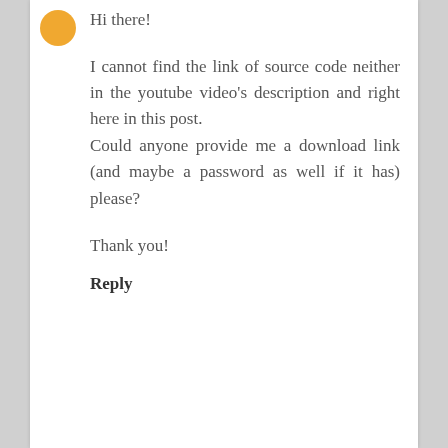Hi there!
I cannot find the link of source code neither in the youtube video's description and right here in this post.
Could anyone provide me a download link (and maybe a password as well if it has) please?
Thank you!
Reply